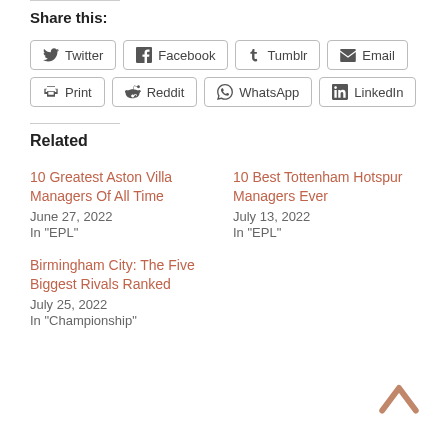Share this:
[Figure (other): Social share buttons: Twitter, Facebook, Tumblr, Email, Print, Reddit, WhatsApp, LinkedIn]
Related
10 Greatest Aston Villa Managers Of All Time
June 27, 2022
In "EPL"
10 Best Tottenham Hotspur Managers Ever
July 13, 2022
In "EPL"
Birmingham City: The Five Biggest Rivals Ranked
July 25, 2022
In "Championship"